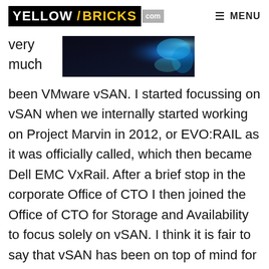YELLOW/BRICKS .com   ≡ MENU
very
much
[Figure (photo): Decorative tech image with dark background and blue glowing abstract shape on the right side]
been VMware vSAN. I started focussing on vSAN when we internally started working on Project Marvin in 2012, or EVO:RAIL as it was officially called, which then became Dell EMC VxRail. After a brief stop in the corporate Office of CTO I then joined the Office of CTO for Storage and Availability to focus solely on vSAN. I think it is fair to say that vSAN has been on top of mind for what feels forever. As such, I figured I needed a